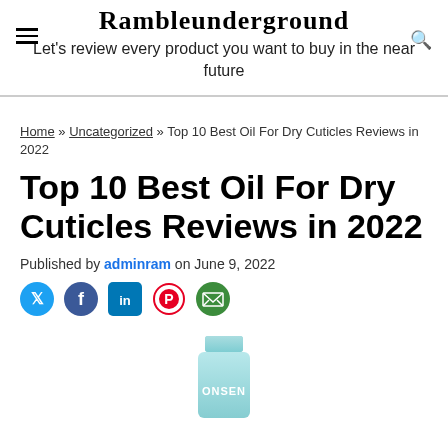Rambleunderground
Let's review every product you want to buy in the near future
Home » Uncategorized » Top 10 Best Oil For Dry Cuticles Reviews in 2022
Top 10 Best Oil For Dry Cuticles Reviews in 2022
Published by adminram on June 9, 2022
[Figure (infographic): Social sharing icons: Twitter, Facebook, LinkedIn, Pinterest, Email]
[Figure (photo): ONSEN product tube, light blue/teal colored tube with ONSEN branding]